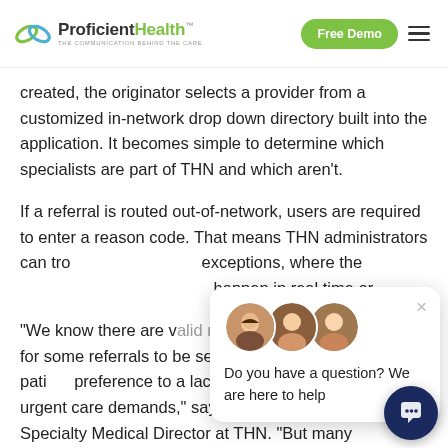ProficientHealth — Free Demo
created, the originator selects a provider from a customized in-network drop down directory built into the application. It becomes simple to determine which specialists are part of THN and which aren't.
If a referral is routed out-of-network, users are required to enter a reason code. That means THN administrators can track out-of-network exceptions, where they're happening and when they happen in real time or
“We know there are valid reasons for some referrals to be sent out of network – from patient preference to a lack of local capacity to meet urgent care demands,” says Dr. David Grapey, Specialty Medical Director at THN. “But many
[Figure (screenshot): Chat widget overlay showing team avatars and message 'Do you have a question? We are here to help']